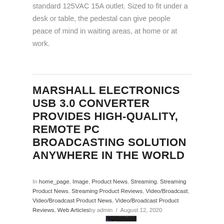standard 125VAC 15A outlet. Sized to fit under a desk or table, the pedestal can give people peace of mind in waiting areas, at home or at work.
MARSHALL ELECTRONICS USB 3.0 CONVERTER PROVIDES HIGH-QUALITY, REMOTE PC BROADCASTING SOLUTION ANYWHERE IN THE WORLD
In home_page, Image, Product News, Streaming, Streaming Product News, Streaming Product Reviews, Video/Broadcast, Video/Broadcast Product News, Video/Broadcast Product Reviews, Web Articles by admin / August 12, 2020
[Figure (photo): Marshall Electronics USB 3.0 converter device — a black rectangular hardware unit with USB 3.0 port, HDMI port labeled LOOPOUT, and Marshall branding on top]